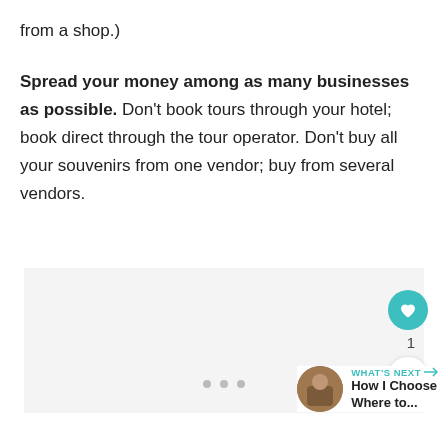from a shop.)
Spread your money among as many businesses as possible. Don't book tours through your hotel; book direct through the tour operator. Don't buy all your souvenirs from one vendor; buy from several vendors.
[Figure (other): Light grey advertisement/content placeholder box]
[Figure (other): UI element: heart/like button (teal circle with heart icon), count of 1, share button below]
[Figure (other): What's Next panel with circular photo thumbnail and text: WHAT'S NEXT → / How I Choose Where to...]